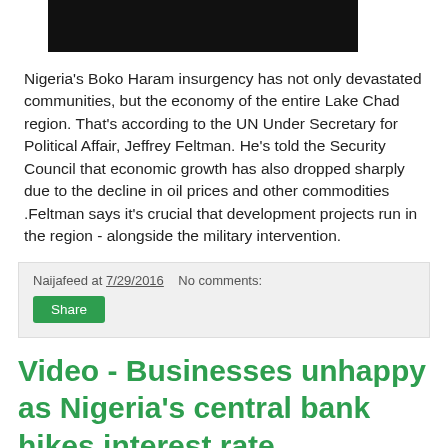[Figure (photo): Dark/black image at top of article]
Nigeria's Boko Haram insurgency has not only devastated communities, but the economy of the entire Lake Chad region. That's according to the UN Under Secretary for Political Affair, Jeffrey Feltman. He's told the Security Council that economic growth has also dropped sharply due to the decline in oil prices and other commodities .Feltman says it's crucial that development projects run in the region - alongside the military intervention.
Naijafeed at 7/29/2016   No comments:
Share
Video - Businesses unhappy as Nigeria's central bank hikes interest rate